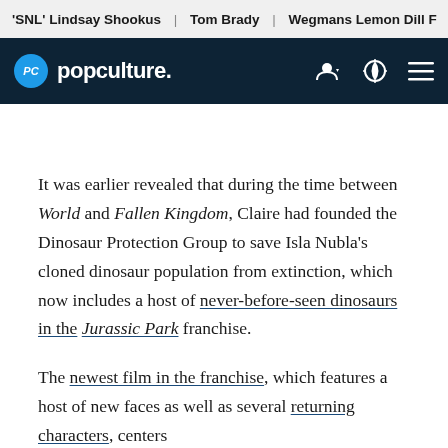'SNL' Lindsay Shookus | Tom Brady | Wegmans Lemon Dill F
popculture.
It was earlier revealed that during the time between World and Fallen Kingdom, Claire had founded the Dinosaur Protection Group to save Isla Nubla's cloned dinosaur population from extinction, which now includes a host of never-before-seen dinosaurs in the Jurassic Park franchise.
The newest film in the franchise, which features a host of new faces as well as several returning characters, centers